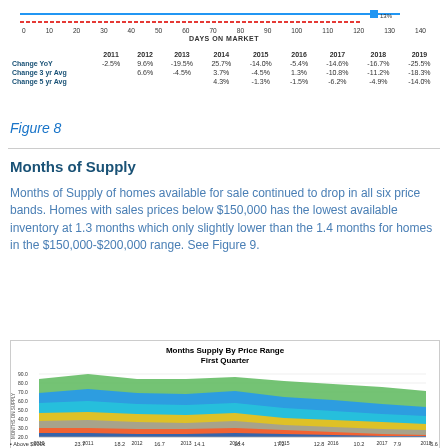[Figure (continuous-plot): Partial view of a horizontal bar chart showing Days on Market data, with axis labels from 0 to 140.]
|  | 2011 | 2012 | 2013 | 2014 | 2015 | 2016 | 2017 | 2018 | 2019 |
| --- | --- | --- | --- | --- | --- | --- | --- | --- | --- |
| Change YoY | -2.5% | 9.6% | -19.5% | 25.7% | -14.0% | -5.4% | -14.6% | -16.7% | -25.5% |
| Change 3 yr Avg |  | 6.6% | -4.5% | 3.7% | -4.5% | 1.3% | -10.8% | -11.2% | -18.3% |
| Change 5 yr Avg |  |  |  | 4.3% | -1.3% | -1.5% | -6.2% | -4.9% | -14.0% |
Figure 8
Months of Supply
Months of Supply of homes available for sale continued to drop in all six price bands. Homes with sales prices below $150,000 has the lowest available inventory at 1.3 months which only slightly lower than the 1.4 months for homes in the $150,000-$200,000 range. See Figure 9.
[Figure (area-chart): Months Supply By Price Range First Quarter]